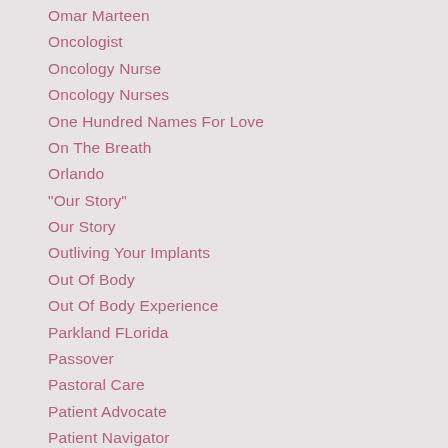Omar Marteen
Oncologist
Oncology Nurse
Oncology Nurses
One Hundred Names For Love
On The Breath
Orlando
"Our Story"
Our Story
Outliving Your Implants
Out Of Body
Out Of Body Experience
Parkland FLorida
Passover
Pastoral Care
Patient Advocate
Patient Navigator
Paul Kalanithi
Pensacola